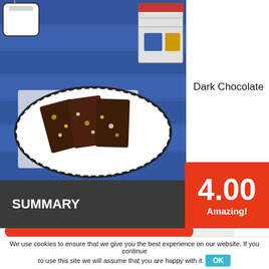[Figure (photo): Dark chocolate cake slices with nuts and tutty fruity on a decorative plate, blue wooden table background, cup of tea and book/magazine visible]
Dark Chocolate
Cake With Nuts & Tutty Fruity
Recipe Rank - 5/5
[Figure (other): Red horizontal progress bar, approximately 82% filled]
No of likes - 2
[Figure (other): Red horizontal progress bar, approximately 90% filled]
SUMMARY
4.00
Amazing!
We use cookies to ensure that we give you the best experience on our website. If you continue to use this site we will assume that you are happy with it.  OK